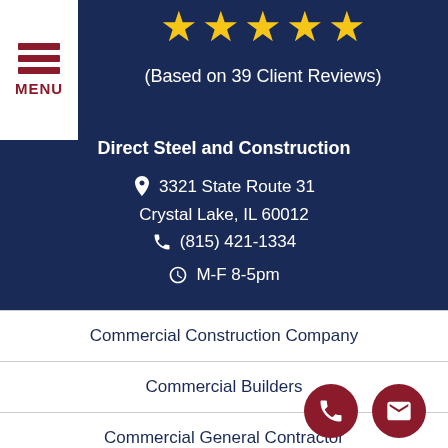[Figure (infographic): Five yellow star rating icons]
(Based on 39 Client Reviews)
Direct Steel and Construction
3321 State Route 31
Crystal Lake, IL 60012
(815) 421-1334
M-F 8-5pm
Commercial Construction Company
Commercial Builders
Commercial General Contractor
Construction Project Management
Commercial Metal Buildings